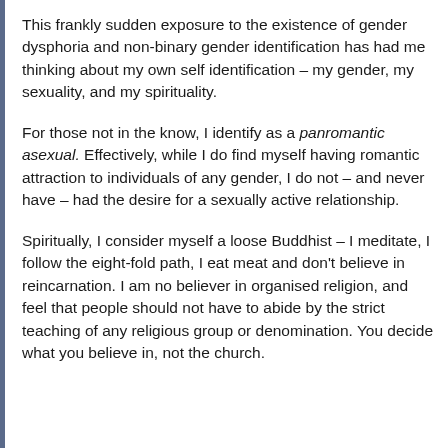This frankly sudden exposure to the existence of gender dysphoria and non-binary gender identification has had me thinking about my own self identification – my gender, my sexuality, and my spirituality.
For those not in the know, I identify as a panromantic asexual. Effectively, while I do find myself having romantic attraction to individuals of any gender, I do not – and never have – had the desire for a sexually active relationship.
Spiritually, I consider myself a loose Buddhist – I meditate, I follow the eight-fold path, I eat meat and don't believe in reincarnation. I am no believer in organised religion, and feel that people should not have to abide by the strict teaching of any religious group or denomination. You decide what you believe in, not the church.